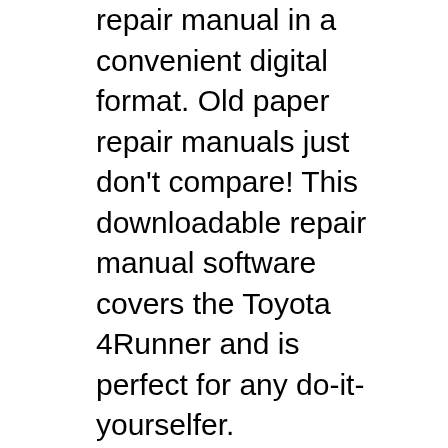repair manual in a convenient digital format. Old paper repair manuals just don't compare! This downloadable repair manual software covers the Toyota 4Runner and is perfect for any do-it-yourselfer.
This manual is specific to a 2008 Toyota 4Runner. RepairSurge is compatible with any internet-enabled computer, laptop, smartphone or tablet device. It is very easy to use and support is always free. RepairSurge is compatible with any internet-enabled computer, laptop, smartphone or tablet device. This manual is specific to a 2008 Toyota 4Runner. RepairSurge is compatible with any internet-enabled computer, laptop,